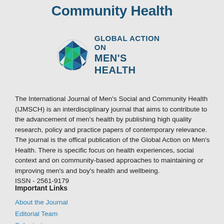Community Health
[Figure (logo): Global Action on Men's Health logo: a globe made of green, teal, and dark blue triangular facets, with text 'GLOBAL ACTION ON MEN'S HEALTH' to the right in dark blue bold uppercase.]
The International Journal of Men's Social and Community Health (IJMSCH) is an interdisciplinary journal that aims to contribute to the advancement of men's health by publishing high quality research, policy and practice papers of contemporary relevance. The journal is the offical publication of the Global Action on Men's Health. There is specific focus on health experiences, social context and on community-based approaches to maintaining or improving men's and boy's health and wellbeing. ISSN - 2561-9179
Important Links
About the Journal
Editorial Team
Submissions